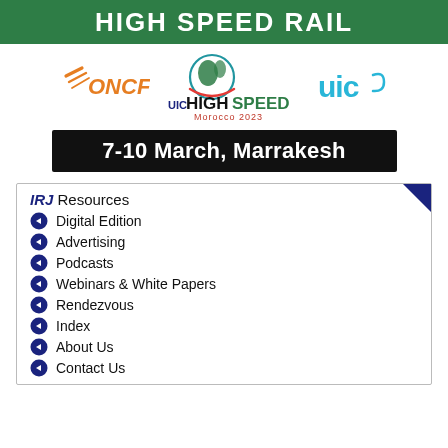HIGH SPEED RAIL
[Figure (logo): ONCF logo, UIC High Speed Morocco 2023 logo, UIC logo]
7-10 March, Marrakesh
IRJ Resources
Digital Edition
Advertising
Podcasts
Webinars & White Papers
Rendezvous
Index
About Us
Contact Us